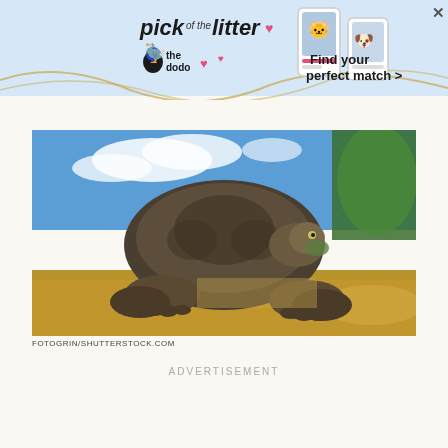[Figure (illustration): Advertisement banner for 'pick of the litter' by The Dodo — shows phone cards with cat and dog photos, text 'Find your perfect match >']
[Figure (photo): Close-up photograph of a large Galápagos tortoise facing the camera on sandy/muddy ground, with blue sky and green trees in the background.]
FOTOGRIN/SHUTTERSTOCK.COM
ADVERTISEMENT